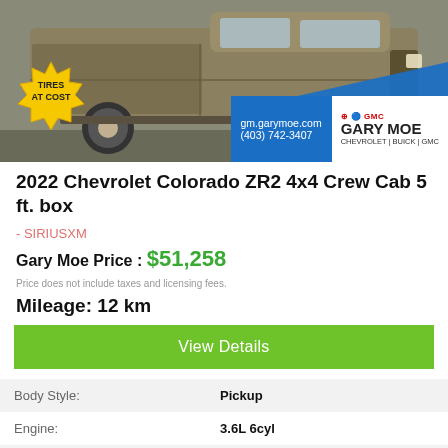[Figure (photo): Side profile photo of a 2022 Chevrolet Colorado ZR2 4x4 truck in tan/khaki color, shown on a lot. Yellow starburst badge reads 'TIRES AT COST'. Dealer banner shows gm.garymoe.com, (403) 742-3407, Gary Moe Chevrolet | Buick | GMC logo.]
2022 Chevrolet Colorado ZR2 4x4 Crew Cab 5 ft. box
- SIRIUSXM
Gary Moe Price : $51,258
Price does not include taxes and licensing fees.
Mileage: 12 km
View Details
|  |  |
| --- | --- |
| Body Style: | Pickup |
| Engine: | 3.6L 6cyl |
| Exterior Colour: | Tan |
| VIN: | 1GCGTEEN0N1221834 |